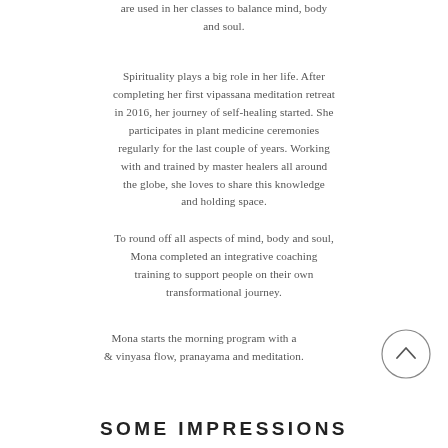are used in her classes to balance mind, body and soul.
Spirituality plays a big role in her life. After completing her first vipassana meditation retreat in 2016, her journey of self-healing started. She participates in plant medicine ceremonies regularly for the last couple of years. Working with and trained by master healers all around the globe, she loves to share this knowledge and holding space.
To round off all aspects of mind, body and soul, Mona completed an integrative coaching training to support people on their own transformational journey.
Mona starts the morning program with a & vinyasa flow, pranayama and meditation.
SOME IMPRESSIONS